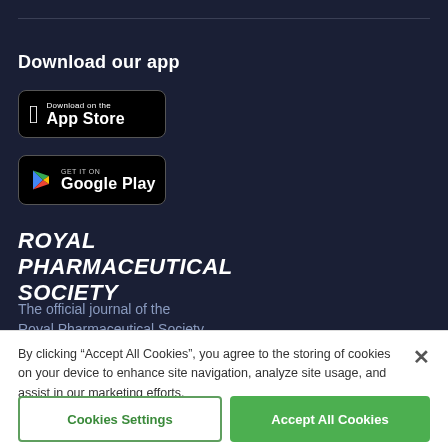Download our app
[Figure (logo): Download on the App Store badge]
[Figure (logo): Get it on Google Play badge]
ROYAL PHARMACEUTICAL SOCIETY
The official journal of the Royal Pharmaceutical Society
By clicking “Accept All Cookies”, you agree to the storing of cookies on your device to enhance site navigation, analyze site usage, and assist in our marketing efforts.
Cookies Settings
Accept All Cookies